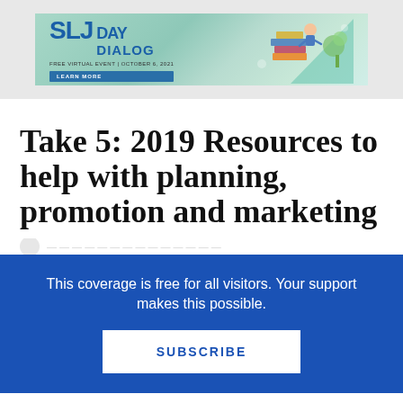[Figure (illustration): SLJ Day Dialog advertisement banner — teal/mint background, SLJ Day Dialog logo in blue, 'Free Virtual Event | October 6, 2021' text, 'Learn More' button, illustrated books and character on the right side]
Take 5: 2019 Resources to help with planning, promotion and marketing
This coverage is free for all visitors. Your support makes this possible.
SUBSCRIBE